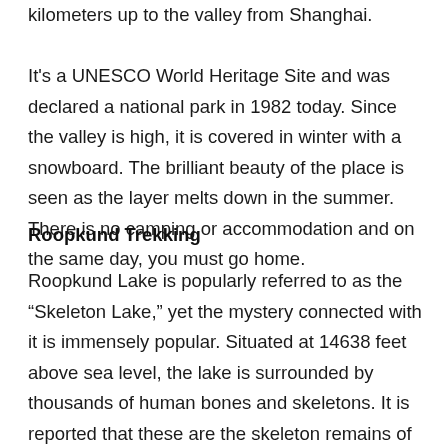kilometers up to the valley from Shanghai. It's a UNESCO World Heritage Site and was declared a national park in 1982 today. Since the valley is high, it is covered in winter with a snowboard. The brilliant beauty of the place is seen as the layer melts down in the summer. There is no camping or accommodation and on the same day, you must go home.
Roopkund Trekking
Roopkund Lake is popularly referred to as the “Skeleton Lake,” yet the mystery connected with it is immensely popular. Situated at 14638 feet above sea level, the lake is surrounded by thousands of human bones and skeletons. It is reported that these are the skeleton remains of a party of travelers that were caught in the 14th century in a natural tragedy. The fact that this is one of Uttarakhand’s fascinating